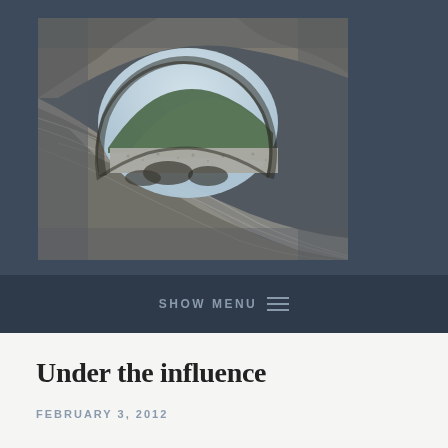[Figure (photo): A photograph of a large twisted driftwood log on a rocky beach, forming a circular arch hole through which a hillside and stony beach shoreline are visible. The wood texture is dramatically grained and weathered, in grey and brown tones. The background shows a green forested hill and a flat grey rocky beach.]
SHOW MENU ≡
Under the influence
FEBRUARY 3, 2012